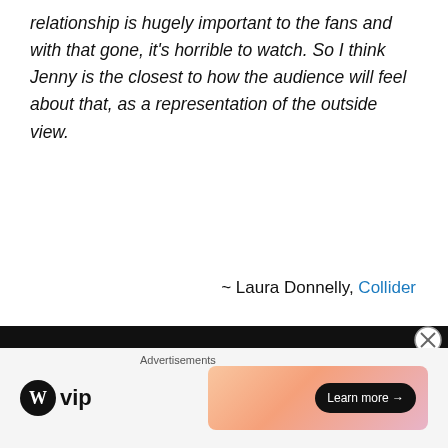relationship is hugely important to the fans and with that gone, it's horrible to watch. So I think Jenny is the closest to how the audience will feel about that, as a representation of the outside view.
~ Laura Donnelly, Collider
C: The most emotional scenes of the episode was Jamie falling on his knees sobbing and being comforted by his sister, and the exchange between Jamie and Ian where Ian compares the phantom pain of losing his leg with Jamie losing Claire, his heart.
[Figure (other): Advertisement bar with WordPress VIP logo and a colorful banner ad with 'Learn more' button]